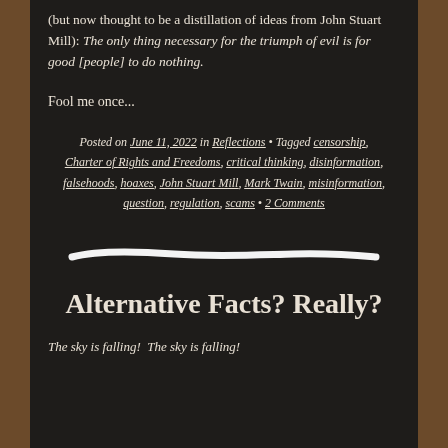(but now thought to be a distillation of ideas from John Stuart Mill): The only thing necessary for the triumph of evil is for good [people] to do nothing.
Fool me once...
Posted on June 11, 2022 in Reflections • Tagged censorship, Charter of Rights and Freedoms, critical thinking, disinformation, falsehoods, hoaxes, John Stuart Mill, Mark Twain, misinformation, question, regulation, scams • 2 Comments
[Figure (illustration): A white hand-drawn horizontal stroke / divider line on dark background]
Alternative Facts? Really?
The sky is falling!  The sky is falling!